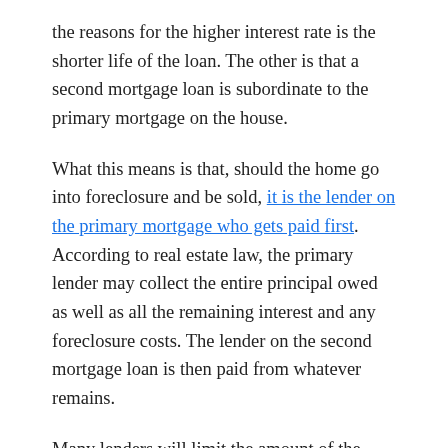the reasons for the higher interest rate is the shorter life of the loan. The other is that a second mortgage loan is subordinate to the primary mortgage on the house.
What this means is that, should the home go into foreclosure and be sold, it is the lender on the primary mortgage who gets paid first. According to real estate law, the primary lender may collect the entire principal owed as well as all the remaining interest and any foreclosure costs. The lender on the second mortgage loan is then paid from whatever remains.
Many lenders will limit the amount of the second mortgage based on what is currently owed on the first mortgage and how much the property is worth on the current housing market. The limit on total mortgage debt is capped at 80% of the home's worth. This means that what you owe on the first mortgage and the amount of